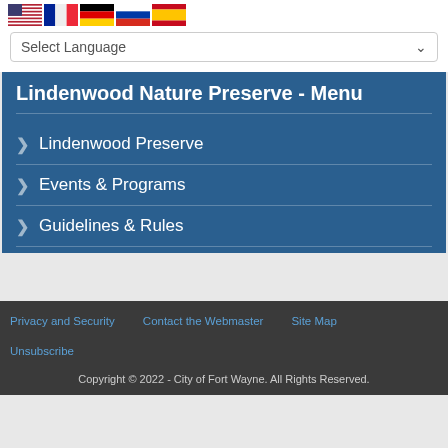[Figure (illustration): Row of five country flag icons: USA, France, Germany, Russia, Spain]
Select Language
Lindenwood Nature Preserve - Menu
Lindenwood Preserve
Events & Programs
Guidelines & Rules
Privacy and Security    Contact the Webmaster    Site Map
Unsubscribe
Copyright © 2022 - City of Fort Wayne. All Rights Reserved.